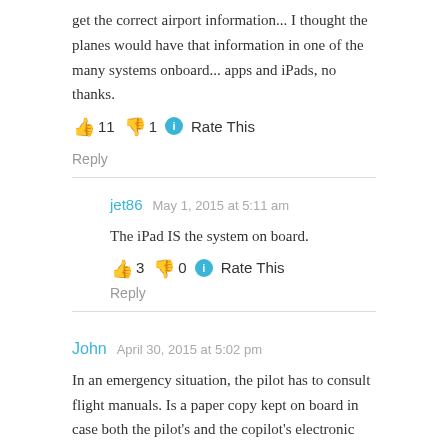get the correct airport information... I thought the planes would have that information in one of the many systems onboard... apps and iPads, no thanks.
👍 11 👎 1 ℹ Rate This
Reply
jet86   May 1, 2015 at 5:11 am
The iPad IS the system on board.
👍 3 👎 0 ℹ Rate This
Reply
John   April 30, 2015 at 5:02 pm
In an emergency situation, the pilot has to consult flight manuals. Is a paper copy kept on board in case both the pilot's and the copilot's electronic flight bags decide to power